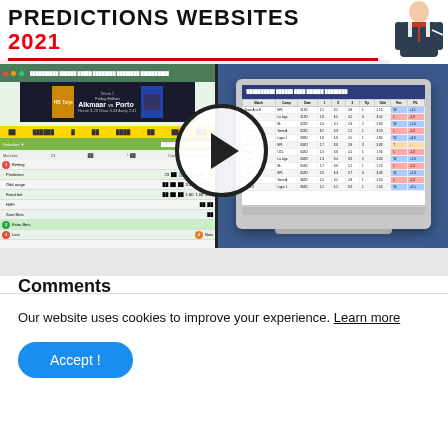PREDICTIONS WEBSITES 2021
[Figure (screenshot): Video thumbnail showing betting prediction websites with a play button overlay. Left side shows a sports betting spreadsheet with match data (Alkmaar vs Porto), right side shows a laptop with a data table. A man in a suit is visible top right.]
Comments
Rosemarie Cozart
Our website uses cookies to improve your experience. Learn more
Accept !